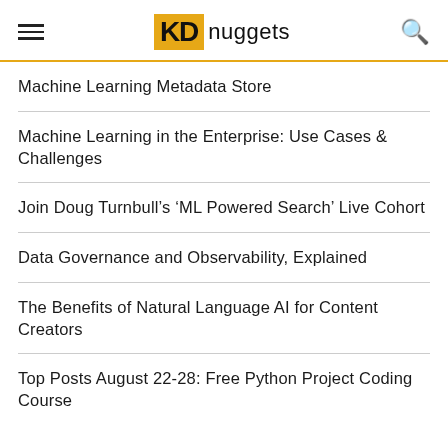KD nuggets
Machine Learning Metadata Store
Machine Learning in the Enterprise: Use Cases & Challenges
Join Doug Turnbull’s ‘ML Powered Search’ Live Cohort
Data Governance and Observability, Explained
The Benefits of Natural Language AI for Content Creators
Top Posts August 22-28: Free Python Project Coding Course